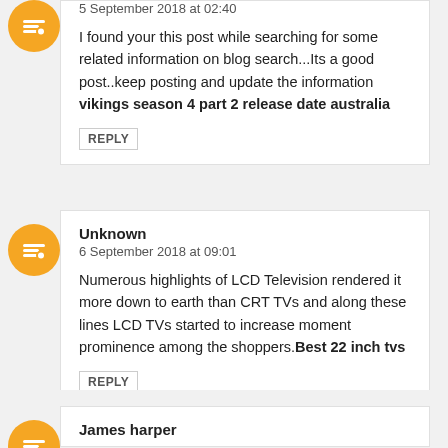5 September 2018 at 02:40
I found your this post while searching for some related information on blog search...Its a good post..keep posting and update the information vikings season 4 part 2 release date australia
REPLY
Unknown
6 September 2018 at 09:01
Numerous highlights of LCD Television rendered it more down to earth than CRT TVs and along these lines LCD TVs started to increase moment prominence among the shoppers.Best 22 inch tvs
REPLY
James harper